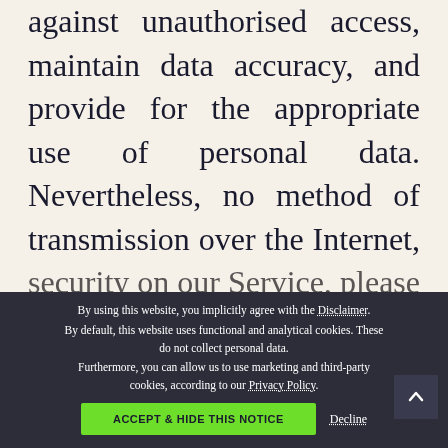against unauthorised access, maintain data accuracy, and provide for the appropriate use of personal data. Nevertheless, no method of transmission over the Internet, or method of electronic storage, is one hundred percent (100%) secure, however. Therefore, we cannot guarantee absolute security. If you have any questions about security on our Service, please contact us at info@neximino.com.
By using this website, you implicitly agree with the Disclaimer. By default, this website uses functional and analytical cookies. These do not collect personal data. Furthermore, you can allow us to use marketing and third-party cookies, according to our Privacy Policy.
ACCEPT & HIDE THIS NOTICE
Decline
Links to Third-Party Sites